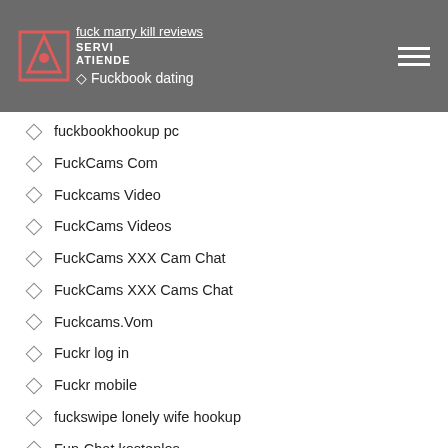fuck marry kill reviews | Fuckbook dating
fuckbookhookup pc
FuckCams Com
Fuckcams Video
FuckCams Videos
FuckCams XXX Cam Chat
FuckCams XXX Cams Chat
Fuckcams.Vom
Fuckr log in
Fuckr mobile
fuckswipe lonely wife hookup
Fun-Chat kostenlos
FurFling dating
furfling gratis
furfling hookup apps
furfling mobile site